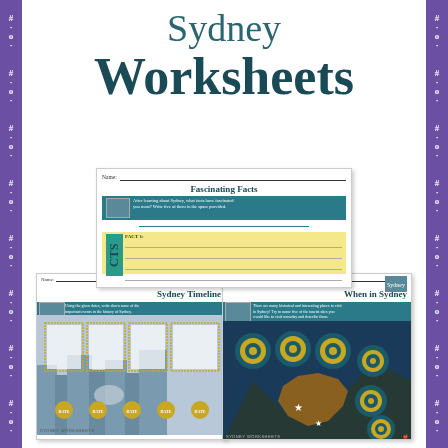Sydney
Worksheets
[Figure (illustration): Three overlapping educational worksheet previews: top center shows 'Fascinating Facts' worksheet, bottom left shows 'Sydney Timeline' worksheet, bottom right shows 'When in Sydney' worksheet with Australian map and target/bullseye graphics. All displayed on a white background with purple decorative borders on left and right sides.]